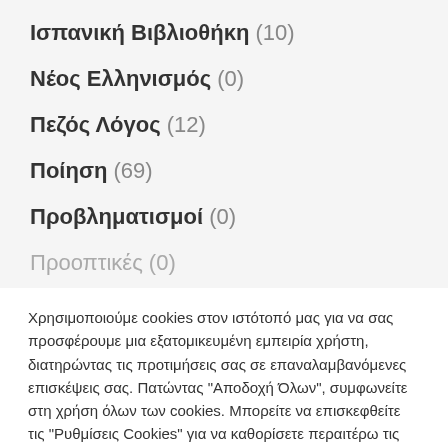Ισπανική Βιβλιοθήκη (10)
Νέος Ελληνισμός (0)
Πεζός Λόγος (12)
Ποίηση (69)
Προβληματισμοί (0)
Προοπτικές (0)
Χρησιμοποιούμε cookies στον ιστότοπό μας για να σας προσφέρουμε μια εξατομικευμένη εμπειρία χρήστη, διατηρώντας τις προτιμήσεις σας σε επαναλαμβανόμενες επισκέψεις σας. Πατώντας "Αποδοχή Όλων", συμφωνείτε στη χρήση όλων των cookies. Μπορείτε να επισκεφθείτε τις "Ρυθμίσεις Cookies" για να καθορίσετε περαιτέρω τις επιλογές σας.
Ρυθμίσεις Cookies | Αποδοχή Όλων